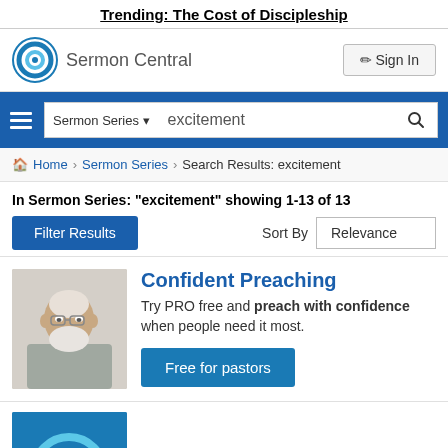Trending: The Cost of Discipleship
[Figure (logo): Sermon Central logo with circular icon and text]
Sign In
[Figure (screenshot): Search bar with Sermon Series dropdown and 'excitement' query]
Home > Sermon Series > Search Results: excitement
In Sermon Series: "excitement" showing 1-13 of 13
Filter Results
Sort By Relevance
[Figure (photo): Elderly smiling man with glasses and white beard]
Confident Preaching
Try PRO free and preach with confidence when people need it most.
Free for pastors
[Figure (logo): Partial blue card with Sermon Central logo arc at bottom]